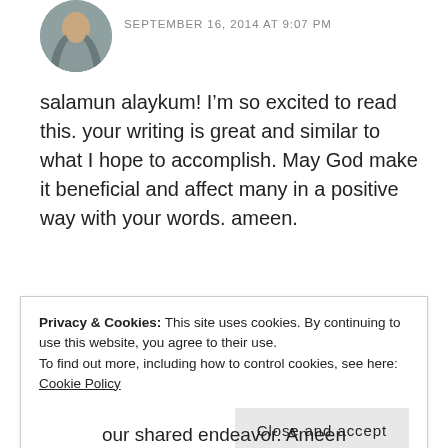[Figure (photo): Circular avatar photo of a person wearing a gray hijab/scarf]
SEPTEMBER 16, 2014 AT 9:07 PM
salamun alaykum! I’m so excited to read this. your writing is great and similar to what I hope to accomplish. May God make it beneficial and affect many in a positive way with your words. ameen.
★ Like
REPLY
Privacy & Cookies: This site uses cookies. By continuing to use this website, you agree to their use.
To find out more, including how to control cookies, see here: Cookie Policy
Close and accept
our shared endeavor. Ameen